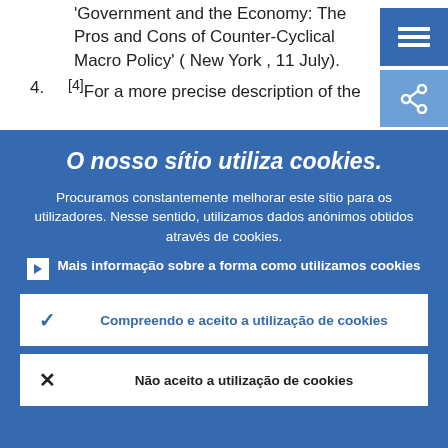Paper presented at the conference 'Government and the Economy: The Pros and Cons of Counter-Cyclical Macro Policy' ( New York , 11 July).
[4]For a more precise description of the
O nosso sítio utiliza cookies.
Procuramos constantemente melhorar este sítio para os utilizadores. Nesse sentido, utilizamos dados anónimos obtidos através de cookies.
Mais informação sobre a forma como utilizamos cookies
Compreendo e aceito a utilização de cookies
Não aceito a utilização de cookies